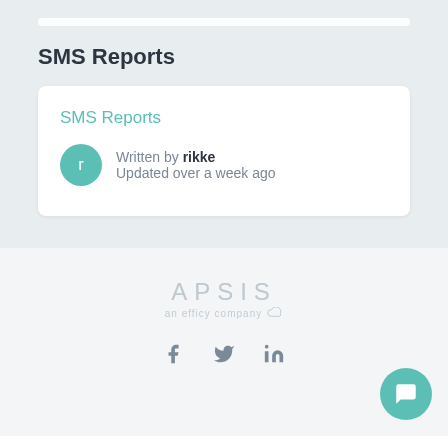SMS Reports
SMS Reports
Written by rikke
Updated over a week ago
[Figure (logo): APSIS logo with 'an efficy company' tagline and cloud icon]
[Figure (illustration): Social media icons: Facebook (f), Twitter (bird), LinkedIn (in)]
[Figure (illustration): Teal circular chat bubble button in bottom right corner]